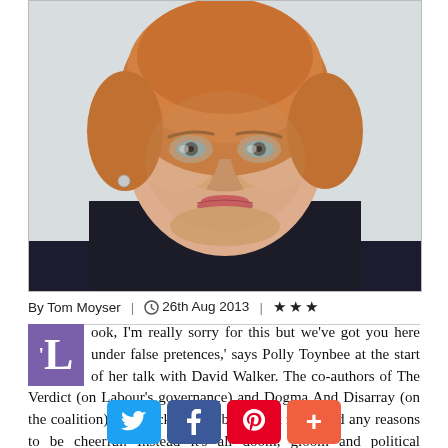[Figure (photo): Headshot photo of a middle-aged woman with short reddish-blonde hair against a light background]
By Tom Moyser  |  © 26th Aug 2013  |  ★★★
'Look, I'm really sorry for this but we've got you here under false pretences,' says Polly Toynbee at the start of her talk with David Walker. The co-authors of The Verdict (on Labour's governance) and Dogma And Disarray (on the coalition) have racked their brains but not found any reasons to be cheerful. Instead it's all doom, gloom and political despondency. There is, we learn, much reason to be despondent, and consequently the show's
[Figure (infographic): Social share buttons: Twitter (blue), Facebook (dark blue), Pinterest (red), Plus/More (orange-red)]